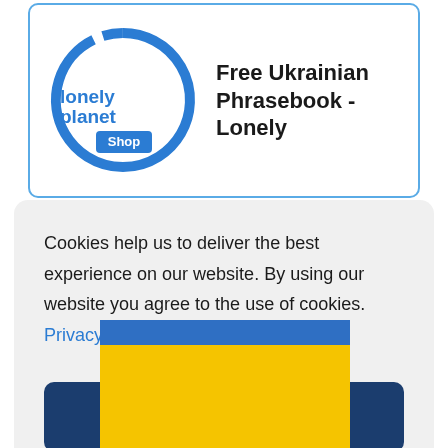[Figure (logo): Lonely Planet Shop logo - blue circular arc with 'lonely planet' text in blue and 'Shop' label]
Free Ukrainian Phrasebook - Lonely
Cookies help us to deliver the best experience on our website. By using our website you agree to the use of cookies. Privacy Policy
Accept
Deny
[Figure (illustration): Ukrainian flag - blue stripe on top, yellow stripe on bottom]